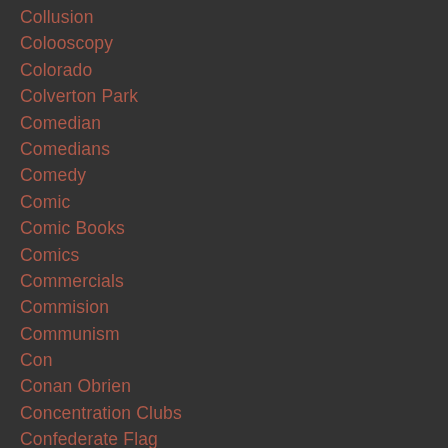Collusion
Colooscopy
Colorado
Colverton Park
Comedian
Comedians
Comedy
Comic
Comic Books
Comics
Commercials
Commision
Communism
Con
Conan Obrien
Concentration Clubs
Confederate Flag
Confederate Monuments
Confederates
Confessions Of A DC Madam
Conflict